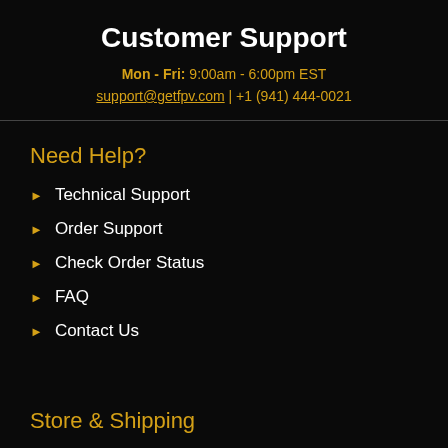Customer Support
Mon - Fri: 9:00am - 6:00pm EST
support@getfpv.com | +1 (941) 444-0021
Need Help?
Technical Support
Order Support
Check Order Status
FAQ
Contact Us
Store & Shipping